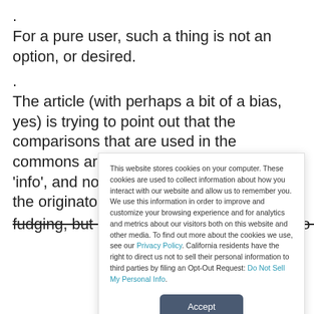.
For a pure user, such a thing is not an option, or desired.
.
The article (with perhaps a bit of a bias, yes) is trying to point out that the comparisons that are used in the commons are often based on marketing ‘info’, and not accurate, not only because the originators were, ummm
fudging, but also because people choose to simplify
This website stores cookies on your computer. These cookies are used to collect information about how you interact with our website and allow us to remember you. We use this information in order to improve and customize your browsing experience and for analytics and metrics about our visitors both on this website and other media. To find out more about the cookies we use, see our Privacy Policy. California residents have the right to direct us not to sell their personal information to third parties by filing an Opt-Out Request: Do Not Sell My Personal Info.
Accept